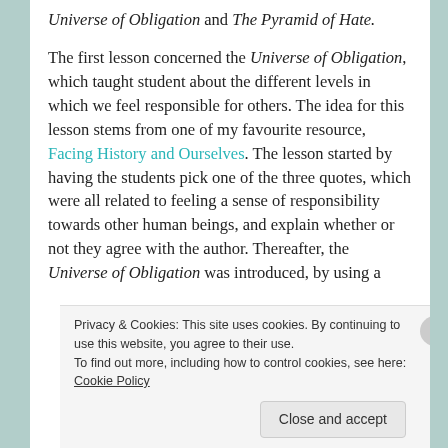The tools I used for teaching this idea were the Universe of Obligation and The Pyramid of Hate.
The first lesson concerned the Universe of Obligation, which taught student about the different levels in which we feel responsible for others. The idea for this lesson stems from one of my favourite resource, Facing History and Ourselves. The lesson started by having the students pick one of the three quotes, which were all related to feeling a sense of responsibility towards other human beings, and explain whether or not they agree with the author. Thereafter, the Universe of Obligation was introduced, by using a
Privacy & Cookies: This site uses cookies. By continuing to use this website, you agree to their use.
To find out more, including how to control cookies, see here: Cookie Policy